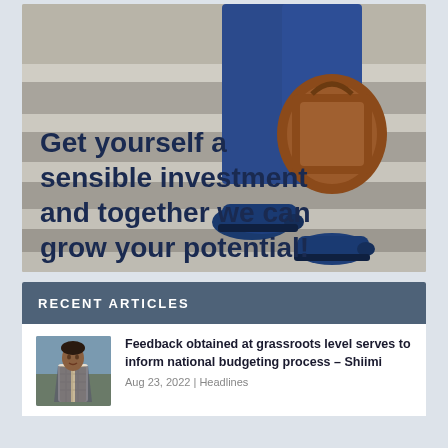[Figure (photo): Photo of a person's legs in blue trousers and blue brogues, carrying a brown leather bag, walking up stone steps. Overlaid text reads: 'Get yourself a sensible investment and together we can grow your potential!']
RECENT ARTICLES
[Figure (photo): Thumbnail photo of a man in a suit and checkered shirt standing outdoors.]
Feedback obtained at grassroots level serves to inform national budgeting process – Shiimi
Aug 23, 2022 | Headlines